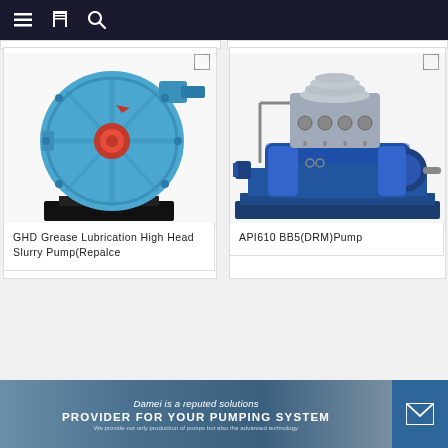Navigation bar with menu, bookmark, and search icons
[Figure (photo): GHD Grease Lubrication High Head Slurry Pump (Replace) - front view of a large blue centrifugal slurry pump with red center hub]
GHD Grease Lubrication High Head Slurry Pump(Repalce
[Figure (photo): API610 BB5(DRM)Pump - industrial blue pump assembly on a skid with silver/metallic components and piping]
API610 BB5(DRM)Pump
Damei is a reputed solutions PROVIDER FOR YOUR PUMPING SYSTEM We provide not only production of pumps but also the advanced technology